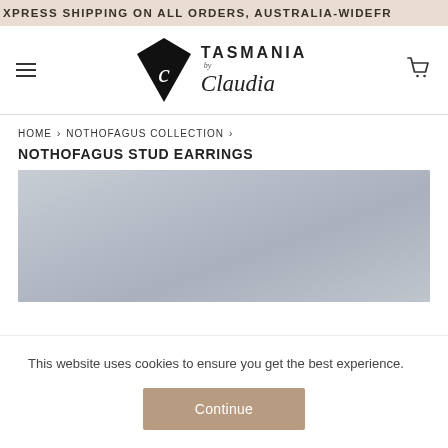XPRESS SHIPPING ON ALL ORDERS, AUSTRALIA-WIDEFR
[Figure (logo): Tasmania by Claudia logo with diamond shape and cursive text]
HOME › NOTHOFAGUS COLLECTION ›
NOTHOFAGUS STUD EARRINGS
[Figure (photo): Product image placeholder with grey gradient background for Nothofagus Stud Earrings]
This website uses cookies to ensure you get the best experience.
Continue